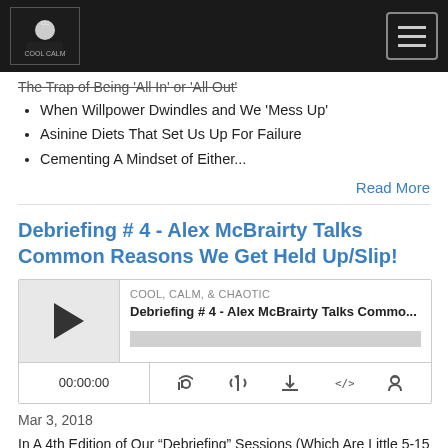Cool, Calm, & Chaotic podcast logo and navigation
The Trap of Being 'All In' or 'All Out'
When Willpower Dwindles and We 'Mess Up'
Asinine Diets That Set Us Up For Failure
Cementing A Mindset of Either...
Read More
Debriefing # 4 - Alex McBrairty Talks Common Reasons We Get Held Up/Slip!
[Figure (other): Podcast audio player widget showing episode 'Debriefing # 4 - Alex McBrairty Talks Commo...' from COOL, CALM, & CHAOTIC with play button, progress bar, timestamp 00:00:00, and control icons]
Mar 3, 2018
In A 4th Edition of Our “Debriefing” Sessions (Which Are Little 5-15 Minute Discussions... On... Well, ANYTHING THAT IS